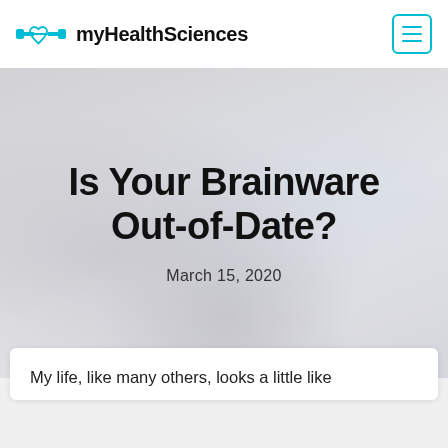myHealthSciences
Is Your Brainware Out-of-Date?
March 15, 2020
[Figure (photo): Blurred background photo of a desk workspace with books and office items, used as hero banner background]
My life, like many others, looks a little like this, but not only that it comes along and...